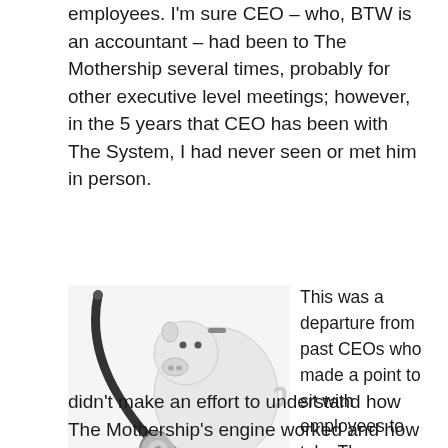employees. I'm sure CEO – who, BTW is an accountant – had been to The Mothership several times, probably for other executive level meetings; however, in the 5 years that CEO has been with The System, I had never seen or met him in person.
[Figure (photo): A white ceramic piggy bank next to a stethoscope on a white background]
This was a departure from past CEOs who made a point to sit with employees to take The System's pulse, ask us how we felt and what we think should change. I just felt I couldn't trust someone who didn't make an effort to understand how The Mothership's engine worked and how The Mothership remained afloat. That was the first inkling of concern I had